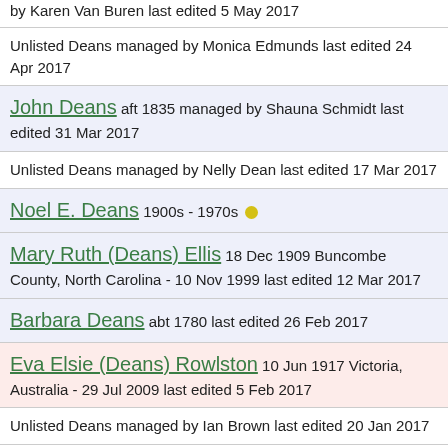by Karen Van Buren last edited 5 May 2017
Unlisted Deans managed by Monica Edmunds last edited 24 Apr 2017
John Deans aft 1835 managed by Shauna Schmidt last edited 31 Mar 2017
Unlisted Deans managed by Nelly Dean last edited 17 Mar 2017
Noel E. Deans 1900s - 1970s
Mary Ruth (Deans) Ellis 18 Dec 1909 Buncombe County, North Carolina - 10 Nov 1999 last edited 12 Mar 2017
Barbara Deans abt 1780 last edited 26 Feb 2017
Eva Elsie (Deans) Rowlston 10 Jun 1917 Victoria, Australia - 29 Jul 2009 last edited 5 Feb 2017
Unlisted Deans managed by Ian Brown last edited 20 Jan 2017
Unlisted Deans